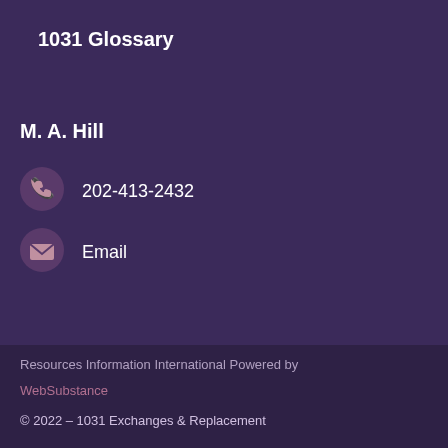1031 Glossary
M. A. Hill
202-413-2432
Email
Resources Information International Powered by WebSubstance
© 2022 - 1031 Exchanges & Replacement